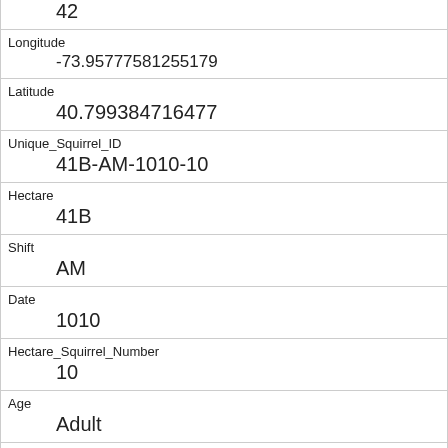| 42 |
| Longitude | -73.95777581255179 |
| Latitude | 40.799384716477 |
| Unique_Squirrel_ID | 41B-AM-1010-10 |
| Hectare | 41B |
| Shift | AM |
| Date | 1010 |
| Hectare_Squirrel_Number | 10 |
| Age | Adult |
| Primary_Fur_Color | Cinnamon |
| Highlight_Fur_Color | White |